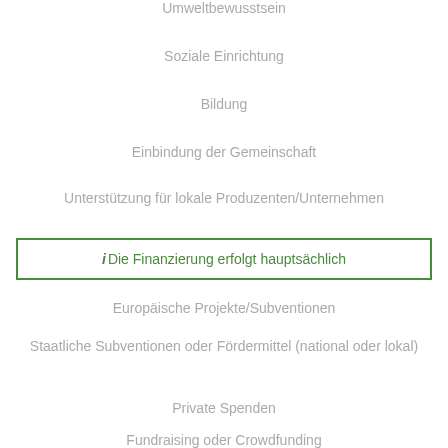Umweltbewusstsein
Soziale Einrichtung
Bildung
Einbindung der Gemeinschaft
Unterstützung für lokale Produzenten/Unternehmen
ⓘ Die Finanzierung erfolgt hauptsächlich
Europäische Projekte/Subventionen
Staatliche Subventionen oder Fördermittel (national oder lokal)
Private Spenden
Fundraising oder Crowdfunding